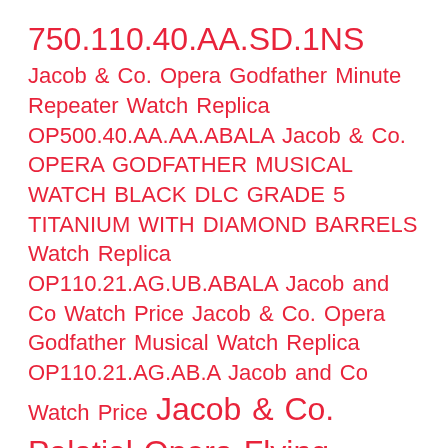750.110.40.AA.SD.1NS Jacob & Co. Opera Godfather Minute Repeater Watch Replica OP500.40.AA.AA.ABALA Jacob & Co. OPERA GODFATHER MUSICAL WATCH BLACK DLC GRADE 5 TITANIUM WITH DIAMOND BARRELS Watch Replica OP110.21.AG.UB.ABALA Jacob and Co Watch Price Jacob & Co. Opera Godfather Musical Watch Replica OP110.21.AG.AB.A Jacob and Co Watch Price Jacob & Co. Palatial Opera Flying Tourbillon Watch PO820.40.BD.MR.A Jacob & Co Astronomia Art Phoenix